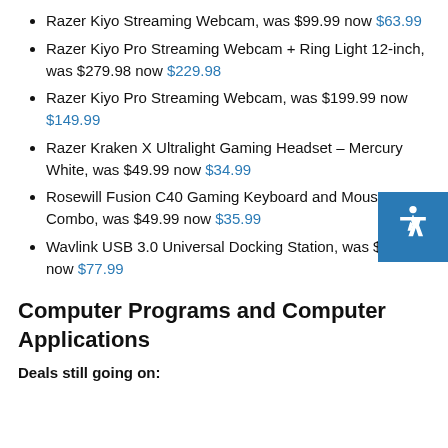Razer Kiyo Streaming Webcam, was $99.99 now $63.99
Razer Kiyo Pro Streaming Webcam + Ring Light 12-inch, was $279.98 now $229.98
Razer Kiyo Pro Streaming Webcam, was $199.99 now $149.99
Razer Kraken X Ultralight Gaming Headset – Mercury White, was $49.99 now $34.99
Rosewill Fusion C40 Gaming Keyboard and Mouse Combo, was $49.99 now $35.99
Wavlink USB 3.0 Universal Docking Station, was $199.99 now $77.99
Computer Programs and Computer Applications
Deals still going on: